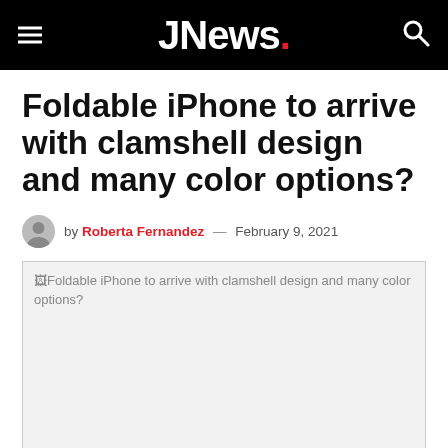JNews.
Foldable iPhone to arrive with clamshell design and many color options?
by Roberta Fernandez — February 9, 2021
[Figure (photo): Broken/unloaded image placeholder with alt text: Foldable iPhone to arrive with clamshell design and many color options?]